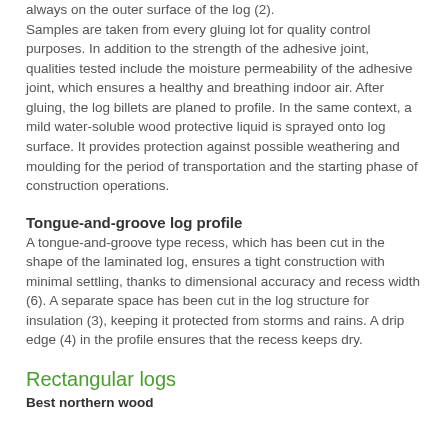always on the outer surface of the log (2). Samples are taken from every gluing lot for quality control purposes. In addition to the strength of the adhesive joint, qualities tested include the moisture permeability of the adhesive joint, which ensures a healthy and breathing indoor air. After gluing, the log billets are planed to profile. In the same context, a mild water-soluble wood protective liquid is sprayed onto log surface. It provides protection against possible weathering and moulding for the period of transportation and the starting phase of construction operations.
Tongue-and-groove log profile
A tongue-and-groove type recess, which has been cut in the shape of the laminated log, ensures a tight construction with minimal settling, thanks to dimensional accuracy and recess width (6). A separate space has been cut in the log structure for insulation (3), keeping it protected from storms and rains. A drip edge (4) in the profile ensures that the recess keeps dry.
Rectangular logs
Best northern wood